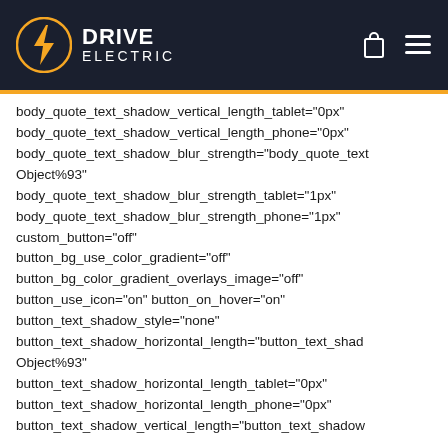DRIVE ELECTRIC
body_quote_text_shadow_vertical_length_tablet="0px"
body_quote_text_shadow_vertical_length_phone="0px"
body_quote_text_shadow_blur_strength="body_quote_text_shadow_blur_strength_Object%93"
body_quote_text_shadow_blur_strength_tablet="1px"
body_quote_text_shadow_blur_strength_phone="1px"
custom_button="off"
button_bg_use_color_gradient="off"
button_bg_color_gradient_overlays_image="off"
button_use_icon="on" button_on_hover="on"
button_text_shadow_style="none"
button_text_shadow_horizontal_length="button_text_shadow_horizontal_length_Object%93"
button_text_shadow_horizontal_length_tablet="0px"
button_text_shadow_horizontal_length_phone="0px"
button_text_shadow_vertical_length="button_text_shadow_vertical_length_..."